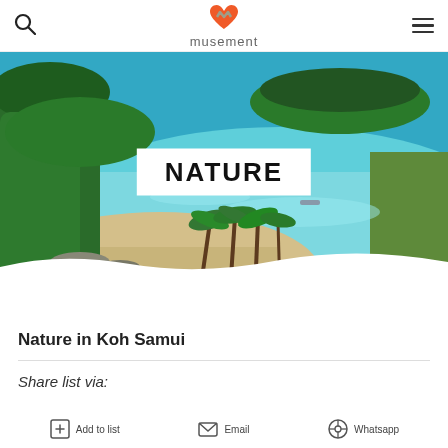musement
[Figure (photo): Tropical beach scene with turquoise water, palm trees, green rocky islands, and boats. White overlay label reading NATURE in the center.]
Nature in Koh Samui
Share list via:
[Figure (infographic): Row of share icons at bottom: Add to list, Email, Whatsapp]